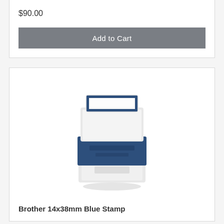$90.00
Add to Cart
[Figure (photo): Brother 14x38mm Blue Stamp product photo showing a small self-inking stamp with white top and bottom and a blue ink band in the middle]
Brother 14x38mm Blue Stamp